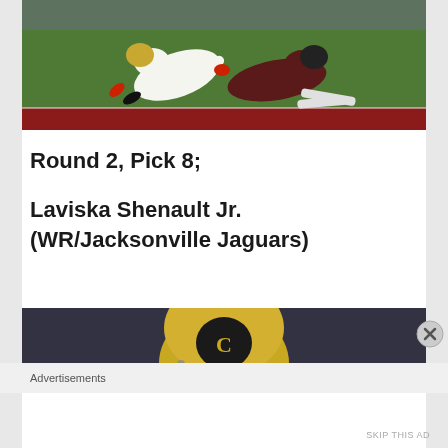[Figure (photo): Football game action photo showing players diving/tackling on a green field with red end zone, one player in white uniform and another in dark uniform]
Round 2, Pick 8;
Laviska Shenault Jr. (WR/Jacksonville Jaguars)
[Figure (photo): Partial photo showing a gold Colorado Buffaloes football helmet on a blurred background]
Advertisements
SKIP THIS AD